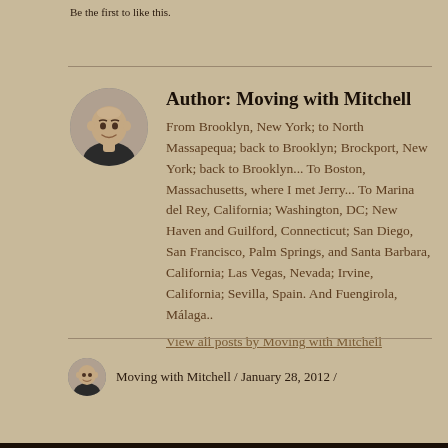Be the first to like this.
[Figure (photo): Circular avatar photo of a bald smiling man]
Author: Moving with Mitchell
From Brooklyn, New York; to North Massapequa; back to Brooklyn; Brockport, New York; back to Brooklyn... To Boston, Massachusetts, where I met Jerry... To Marina del Rey, California; Washington, DC; New Haven and Guilford, Connecticut; San Diego, San Francisco, Palm Springs, and Santa Barbara, California; Las Vegas, Nevada; Irvine, California; Sevilla, Spain. And Fuengirola, Málaga..
View all posts by Moving with Mitchell
[Figure (photo): Small circular avatar photo of a bald man]
Moving with Mitchell / January 28, 2012 /